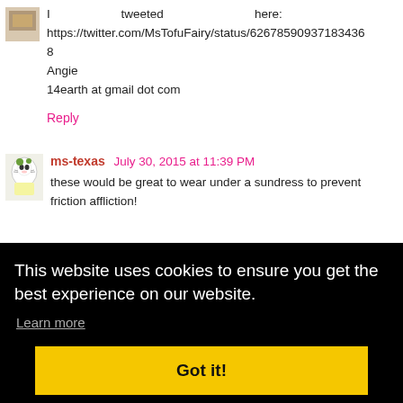I tweeted here:
https://twitter.com/MsTofuFairy/status/626785909371834368
Angie
14earth at gmail dot com
Reply
ms-texas July 30, 2015 at 11:39 PM
these would be great to wear under a sundress to prevent friction affliction!
This website uses cookies to ensure you get the best experience on our website.
Learn more
Got it!
https://twitter.com/hollows22/status/626060621762040120